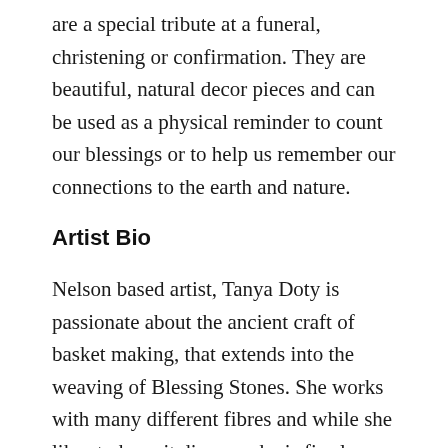are a special tribute at a funeral, christening or confirmation. They are beautiful, natural decor pieces and can be used as a physical reminder to count our blessings or to help us remember our connections to the earth and nature.
Artist Bio
Nelson based artist, Tanya Doty is passionate about the ancient craft of basket making, that extends into the weaving of Blessing Stones. She works with many different fibres and while she likes to keep it diverse, she is firmly addicted to willow. “It’s such an old craft and it’s very cool that it still has a place in modern day life. I love the smell, and the sound it makes when I’m weaving. I love that it takes strength to construct a basket and that some of the willow I use is